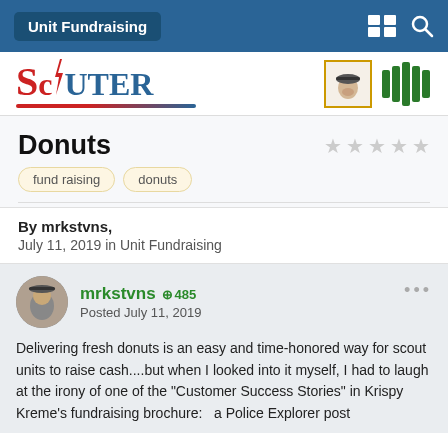Unit Fundraising
[Figure (logo): Scouter magazine logo with red and blue text]
[Figure (illustration): Scout with hat thumbnail and green graphic emblem]
Donuts
fund raising   donuts
By mrkstvns,
July 11, 2019 in Unit Fundraising
[Figure (photo): Avatar photo of mrkstvns user, a person wearing a hat]
mrkstvns  ⊕ 485
Posted July 11, 2019
Delivering fresh donuts is an easy and time-honored way for scout units to raise cash....but when I looked into it myself, I had to laugh at the irony of one of the "Customer Success Stories" in Krispy Kreme's fundraising brochure:   a Police Explorer post